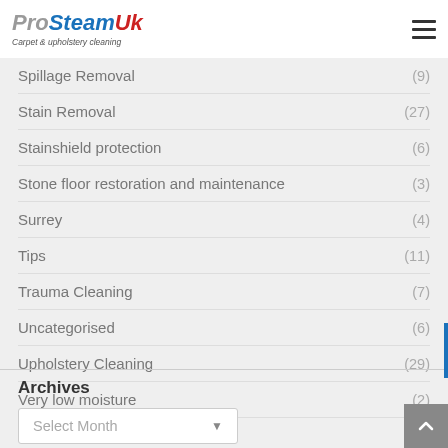ProSteam UK – Carpet & upholstery cleaning
Spillage Removal (9)
Stain Removal (27)
Stainshield protection (6)
Stone floor restoration and maintenance (3)
Surrey (4)
Tips (11)
Trauma Cleaning (7)
Uncategorised (6)
Upholstery Cleaning (29)
Very low moisture (2)
Archives
Select Month